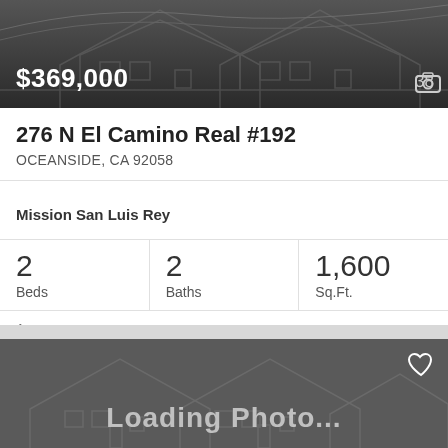[Figure (screenshot): Dark banner with house outline watermark, showing price $369,000 and photo count 38]
276 N El Camino Real #192
OCEANSIDE, CA 92058
Mission San Luis Rey
2 Beds  2 Baths  1,600 Sq.Ft.
Aare
[Figure (screenshot): Dark gray card with house outline watermark, heart icon in top right, and Loading Photo... text]